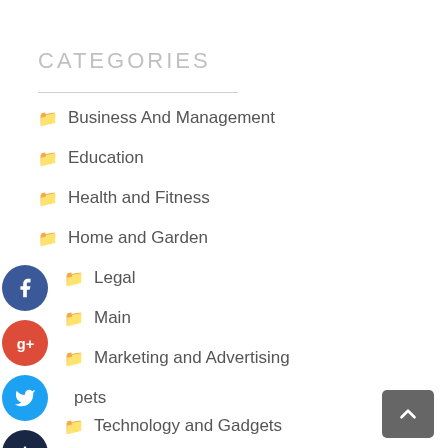CATEGORIES
Business And Management
Education
Health and Fitness
Home and Garden
Legal
Main
Marketing and Advertising
pets
Technology and Gadgets
Travel and Leisure